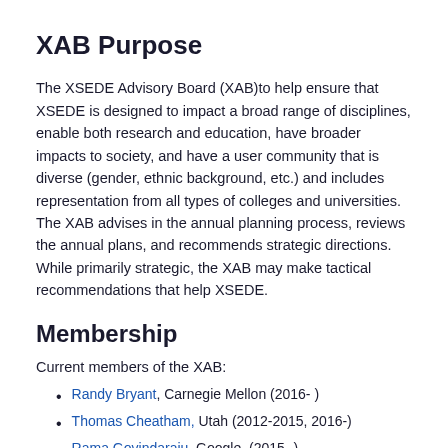XAB Purpose
The XSEDE Advisory Board (XAB)to help ensure that XSEDE is designed to impact a broad range of disciplines, enable both research and education, have broader impacts to society, and have a user community that is diverse (gender, ethnic background, etc.) and includes representation from all types of colleges and universities. The XAB advises in the annual planning process, reviews the annual plans, and recommends strategic directions. While primarily strategic, the XAB may make tactical recommendations that help XSEDE.
Membership
Current members of the XAB:
Randy Bryant, Carnegie Mellon (2016- )
Thomas Cheatham, Utah (2012-2015, 2016-)
Rama Govindaraju, Google, (2015- )
Clifford Jacobs, (2015- )
Albert Lazzarini, Deputy Director, LIGO Laboratory (2013- )
Phil Moulding, SREC (2013- )